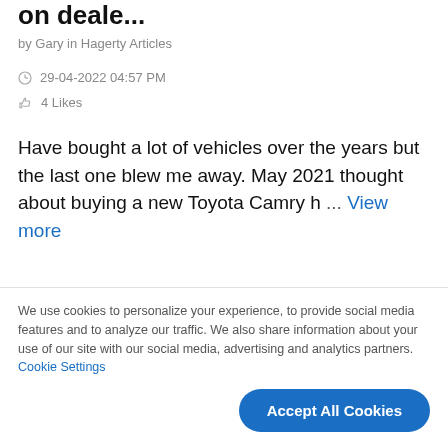on deale...
by Gary in Hagerty Articles
29-04-2022 04:57 PM
4 Likes
Have bought a lot of vehicles over the years but the last one blew me away. May 2021 thought about buying a new Toyota Camry h ... View more
Re: Rate Parada la Fiat X1/9 ... Tri...
We use cookies to personalize your experience, to provide social media features and to analyze our traffic. We also share information about your use of our site with our social media, advertising and analytics partners. Cookie Settings
Accept All Cookies